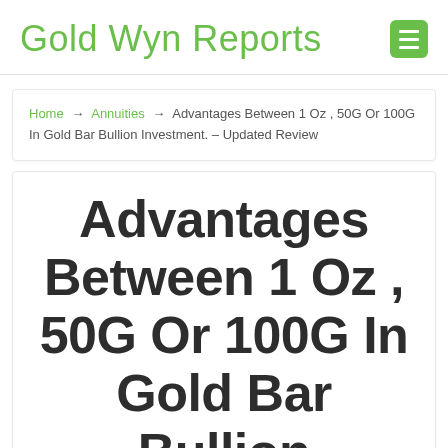Gold Wyn Reports
Home → Annuities → Advantages Between 1 Oz , 50G Or 100G In Gold Bar Bullion Investment. – Updated Review
Advantages Between 1 Oz , 50G Or 100G In Gold Bar Bullion